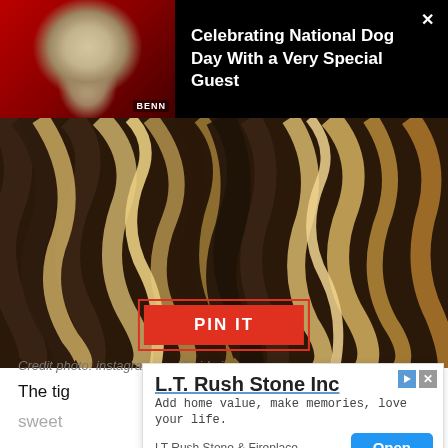[Figure (photo): Top notification banner with black background showing a small dog (possibly a Yorkshire Terrier) on a red background with text 'Celebrating National Dog Day With a Very Special Guest' in white]
Celebrating National Dog Day With a Very Special Guest
[Figure (photo): Close-up photo of wavy hair with brown and blonde highlights/balayage coloring]
PIN IT
Credit photo: instagram.com/hairbviaxx
The tig
sweet
[Figure (screenshot): Advertisement overlay for L.T. Rush Stone Inc with tagline 'Add home value, make memories, love your life.' and an Open button, from LT Rush Stone & Fireplace]